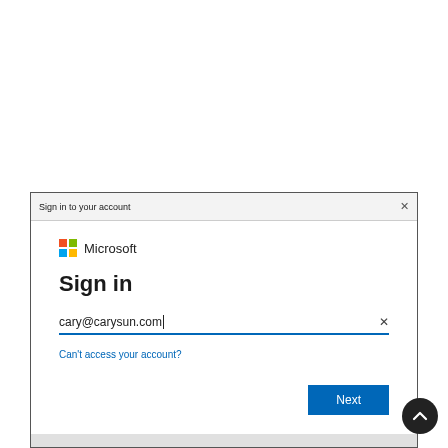[Figure (screenshot): Microsoft Sign in dialog box with title bar 'Sign in to your account', Microsoft logo, 'Sign in' heading, email input field showing 'cary@carysun.com' with a clear button, 'Can't access your account?' link, and a blue 'Next' button. A dark circular scroll-up arrow button appears at the bottom right corner.]